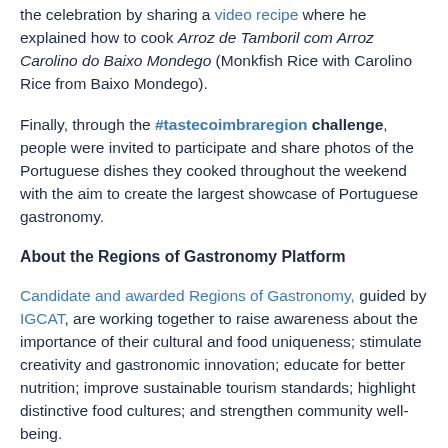the celebration by sharing a video recipe where he explained how to cook Arroz de Tamboril com Arroz Carolino do Baixo Mondego (Monkfish Rice with Carolino Rice from Baixo Mondego).
Finally, through the #tastecoimbraregion challenge, people were invited to participate and share photos of the Portuguese dishes they cooked throughout the weekend with the aim to create the largest showcase of Portuguese gastronomy.
About the Regions of Gastronomy Platform
Candidate and awarded Regions of Gastronomy, guided by IGCAT, are working together to raise awareness about the importance of their cultural and food uniqueness; stimulate creativity and gastronomic innovation; educate for better nutrition; improve sustainable tourism standards; highlight distinctive food cultures; and strengthen community well-being.